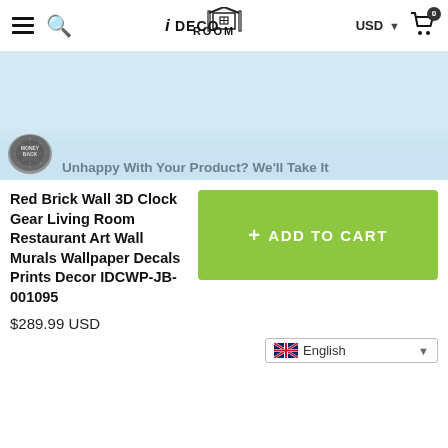iDECOROOM — USD — Cart (0)
[Figure (illustration): Light blue promotional banner area with a money-back guarantee badge and text 'Unhappy With Your Product? We'll Take It']
Red Brick Wall 3D Clock Gear Living Room Restaurant Art Wall Murals Wallpaper Decals Prints Decor IDCWP-JB-001095
$289.99 USD